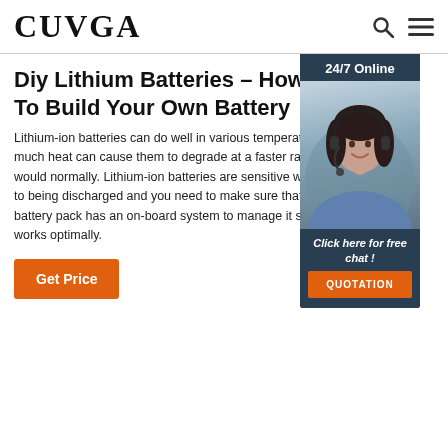CUVGA
Diy Lithium Batteries – How To Build Your Own Battery
Lithium-ion batteries can do well in various temperatures, but too much heat can cause them to degrade at a faster rate than they would normally. Lithium-ion batteries are sensitive when it comes to being discharged and you need to make sure that the battery pack has an on-board system to manage it so it works optimally.
[Figure (photo): Woman with headset smiling, 24/7 Online customer support widget with 'Click here for free chat!' and QUOTATION button]
Get Price